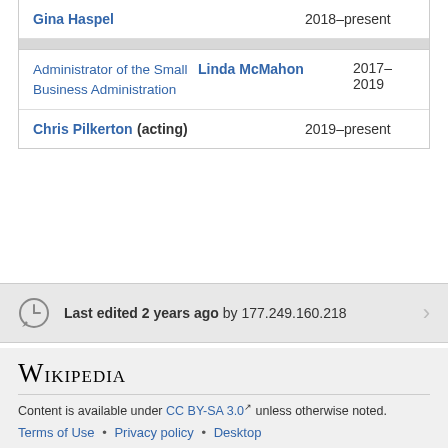| Role | Name | Years |
| --- | --- | --- |
|  | Gina Haspel | 2018–present |
| Administrator of the Small Business Administration | Linda McMahon | 2017–2019 |
|  | Chris Pilkerton (acting) | 2019–present |
Last edited 2 years ago by 177.249.160.218
Wikipedia
Content is available under CC BY-SA 3.0 unless otherwise noted.
Terms of Use • Privacy policy • Desktop